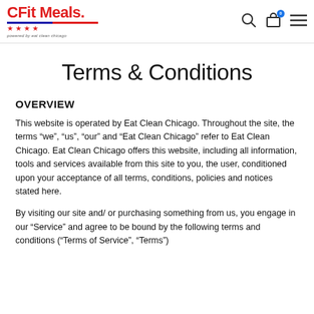CFit Meals — powered by eat clean chicago
Terms & Conditions
OVERVIEW
This website is operated by Eat Clean Chicago. Throughout the site, the terms “we”, “us”, “our” and “Eat Clean Chicago” refer to Eat Clean Chicago. Eat Clean Chicago offers this website, including all information, tools and services available from this site to you, the user, conditioned upon your acceptance of all terms, conditions, policies and notices stated here.
By visiting our site and/ or purchasing something from us, you engage in our “Service” and agree to be bound by the following terms and conditions (“Terms of Service”, “Terms”)